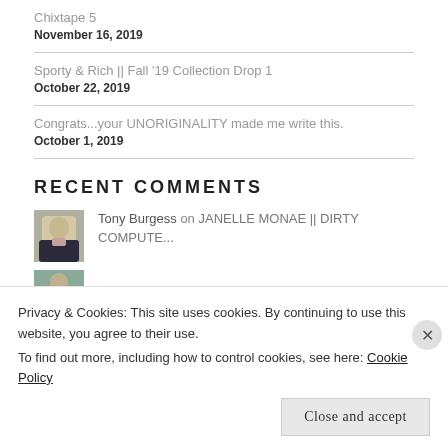Chixtape 5
November 16, 2019
Sporty & Rich || Fall '19 Collection Drop 1
October 22, 2019
Congrats...your UNORIGINALITY made me write this.
October 1, 2019
RECENT COMMENTS
Tony Burgess on JANELLE MONAE || DIRTY COMPUTE...
Privacy & Cookies: This site uses cookies. By continuing to use this website, you agree to their use.
To find out more, including how to control cookies, see here: Cookie Policy
Close and accept